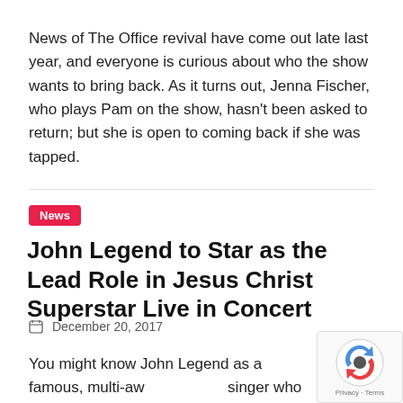News of The Office revival have come out late last year, and everyone is curious about who the show wants to bring back. As it turns out, Jenna Fischer, who plays Pam on the show, hasn't been asked to return; but she is open to coming back if she was tapped.
News
John Legend to Star as the Lead Role in Jesus Christ Superstar Live in Concert
December 20, 2017
You might know John Legend as a famous, multi-aw... singer who won 10 Grammy awards, an Oscar, Ton... other prestigious awards, but this time,